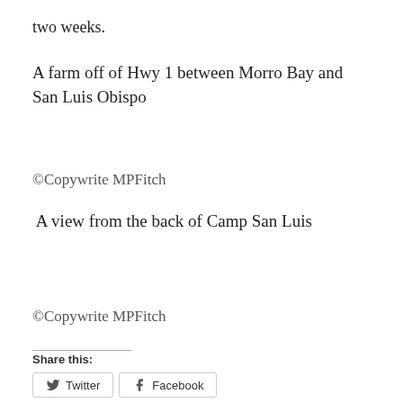two weeks.
A farm off of Hwy 1 between Morro Bay and San Luis Obispo
©Copywrite MPFitch
A view from the back of Camp San Luis
©Copywrite MPFitch
Share this:
Twitter   Facebook